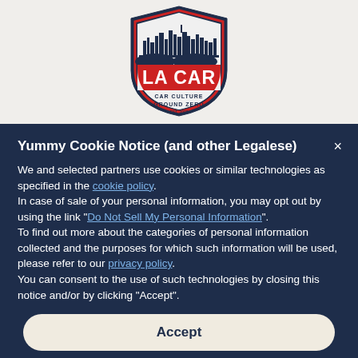[Figure (logo): LA CAR shield logo with city skyline, text 'LA CAR' in red and 'CAR CULTURE GROUND ZERO' below]
Yummy Cookie Notice (and other Legalese)
We and selected partners use cookies or similar technologies as specified in the cookie policy.
In case of sale of your personal information, you may opt out by using the link "Do Not Sell My Personal Information".
To find out more about the categories of personal information collected and the purposes for which such information will be used, please refer to our privacy policy.
You can consent to the use of such technologies by closing this notice and/or by clicking "Accept".
Accept